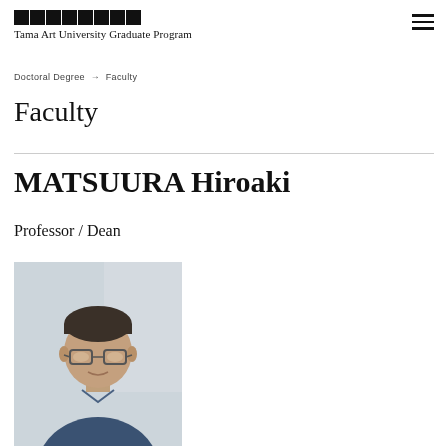Tama Art University Graduate Program
Doctoral Degree → Faculty
Faculty
MATSUURA Hiroaki
Professor / Dean
[Figure (photo): Portrait photo of MATSUURA Hiroaki, a middle-aged Japanese man wearing glasses and a dark blue shirt, photographed against a light grey background.]